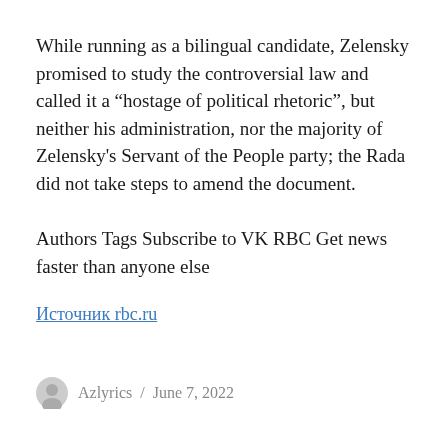While running as a bilingual candidate, Zelensky promised to study the controversial law and called it a “hostage of political rhetoric”, but neither his administration, nor the majority of Zelensky's Servant of the People party; the Rada did not take steps to amend the document.
Authors Tags Subscribe to VK RBC Get news faster than anyone else
Источник rbc.ru
Azlyrics / June 7, 2022